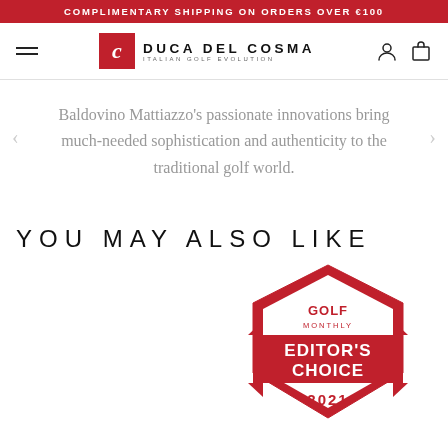COMPLIMENTARY SHIPPING ON ORDERS OVER €100
[Figure (logo): Duca Del Cosma Italian Golf Evolution logo with hamburger menu, brand mark (red square with italic C), brand name, and nav icons (user, shopping bag)]
Baldovino Mattiazzo's passionate innovations bring much-needed sophistication and authenticity to the traditional golf world.
YOU MAY ALSO LIKE
[Figure (logo): Golf Monthly Editor's Choice 2021 badge — red and white shield/badge shape with 'GOLF MONTHLY' at top, 'EDITOR'S CHOICE' in large bold text, and '2021' at bottom]